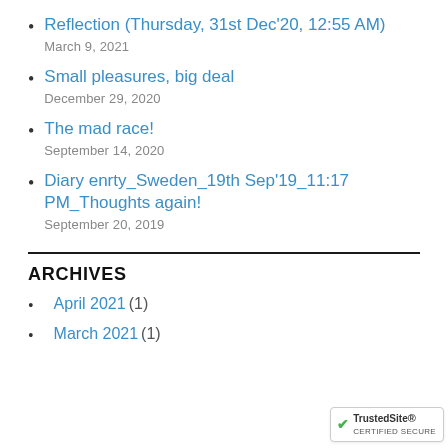Reflection (Thursday, 31st Dec'20, 12:55 AM)
March 9, 2021
Small pleasures, big deal
December 29, 2020
The mad race!
September 14, 2020
Diary enrty_Sweden_19th Sep'19_11:17 PM_Thoughts again!
September 20, 2019
ARCHIVES
April 2021 (1)
March 2021 (1)